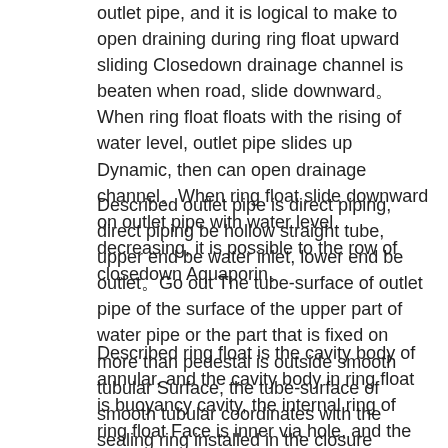outlet pipe, and it is logical to make to open draining during ring float upward sliding Closedown drainage channel is beaten when road, slide downward。When ring float floats with the rising of water level, outlet pipe slides up Dynamic, then can open drainage channel。When ring float slide downward on outlet pipe with water level decreasing, it is possible to the row of closedown Aquaporin。
Described outlet pipe is direct piping, direct piping be hollow straight tube, upper end be water inlet, lower end be outlet。Go out The tube-surface of outlet pipe of the surface of the upper part of water pipe or the part that is fixed on more than pedestal is outside smooth tubular Surface, the tube-surface of smooth tubular coordinates with the sealing ring installed in the closure gasket groove of ring float。
Described ring float is the cavity body of annular, and the cavity body in ring float is buoyancy cavity, the internal ring of ring float Face is inner via hole, and the inner ring surface of inner via hole has apopore and closure gasket groove, closure gasket groove going out on the inner ring surface of inner via hole Water hole is above and below。Below ring float, the lower part of one side or outside has inlet opening, has even in buoyancy cavity Tapping into the interior siphunculus of water hole and apopore, interior